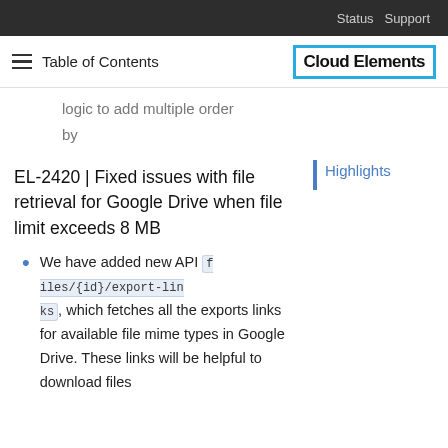Status   Support
Table of Contents   Cloud Elements
logic to add multiple order by
EL-2420 | Fixed issues with file retrieval for Google Drive when file limit exceeds 8 MB
We have added new API files/{id}/export-links, which fetches all the exports links for available file mime types in Google Drive. These links will be helpful to download files